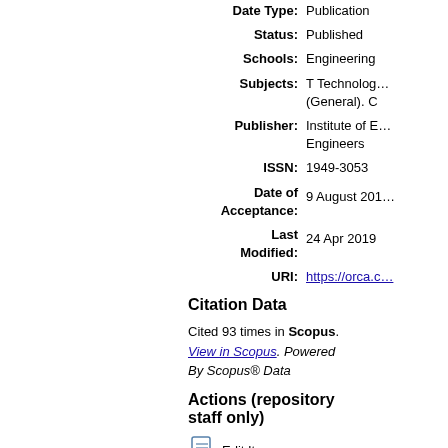Date Type: Publication
Status: Published
Schools: Engineering
Subjects: T Technology (General). C
Publisher: Institute of E... Engineers
ISSN: 1949-3053
Date of Acceptance: 9 August 201...
Last Modified: 24 Apr 2019
URI: https://orca.c...
Citation Data
Cited 93 times in Scopus. View in Scopus. Powered By Scopus® Data
Actions (repository staff only)
Edit Item